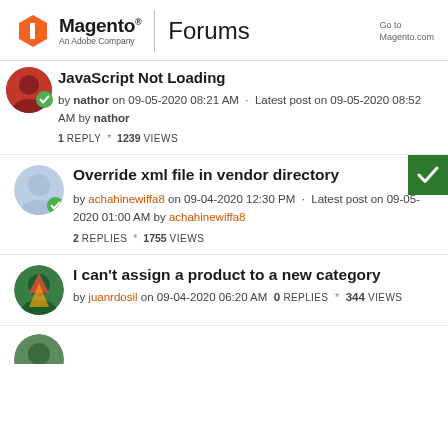Magento An Adobe Company | Forums | Go to Magento.com
JavaScript Not Loading by nathor on 09-05-2020 08:21 AM · Latest post on 09-05-2020 08:52 AM by nathor 1 REPLY * 1239 VIEWS
Override xml file in vendor directory by achahinewiffa8 on 09-04-2020 12:30 PM · Latest post on 09-05-2020 01:00 AM by achahinewiffa8 2 REPLIES * 1755 VIEWS
I can't assign a product to a new category by juanrdosil on 09-04-2020 06:20 AM 0 REPLIES * 344 VIEWS